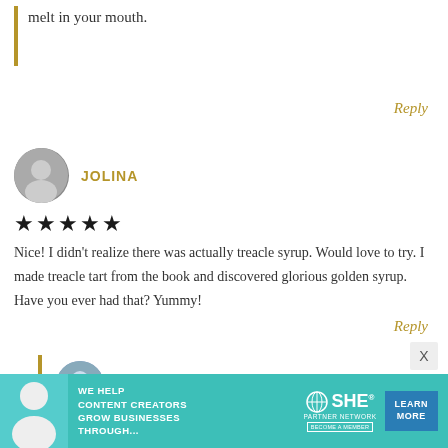melt in your mouth.
Reply
JOLINA
★★★★★
Nice! I didn't realize there was actually treacle syrup. Would love to try. I made treacle tart from the book and discovered glorious golden syrup. Have you ever had that? Yummy!
Reply
STEPHANIE
[Figure (photo): Circular avatar photo of Jolina, a person with light skin]
[Figure (photo): Circular avatar photo of Stephanie, a person with glasses and light skin]
[Figure (infographic): Advertisement banner for SHE Partner Network: We help content creators grow businesses through... with Learn More button]